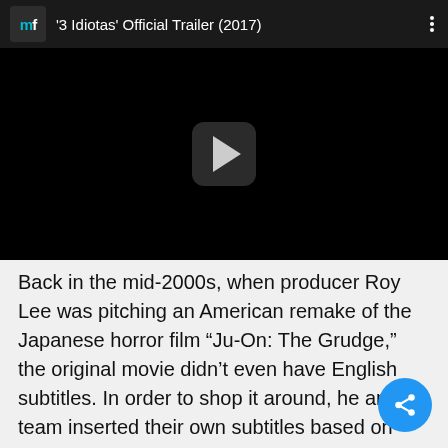[Figure (screenshot): Video player thumbnail showing '3 Idiotas' Official Trailer (2017) with a channel icon (mf), video title, three-dot menu, black video frame with play button]
Back in the mid-2000s, when producer Roy Lee was pitching an American remake of the Japanese horror film “Ju-On: The Grudge,” the original movie didn’t even have English subtitles. In order to shop it around, he and his team inserted their own subtitles based on what they thought was happening in the movie.